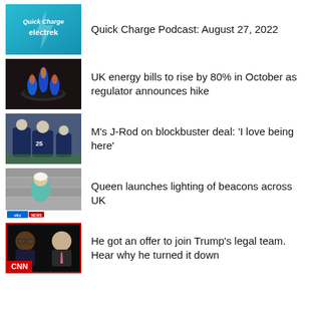[Figure (photo): Quick Charge Podcast thumbnail with Electrek branding on teal/cyan background]
Quick Charge Podcast: August 27, 2022
[Figure (photo): Gas burner with blue and orange flame on dark background]
UK energy bills to rise by 80% in October as regulator announces hike
[Figure (photo): Baseball players in navy uniforms on field]
M's J-Rod on blockbuster deal: 'I love being here'
[Figure (photo): Queen in teal outfit with Sky News lower third graphic]
Queen launches lighting of beacons across UK
[Figure (photo): CNN broadcast with two men, CNN logo in red at bottom left]
He got an offer to join Trump's legal team. Hear why he turned it down